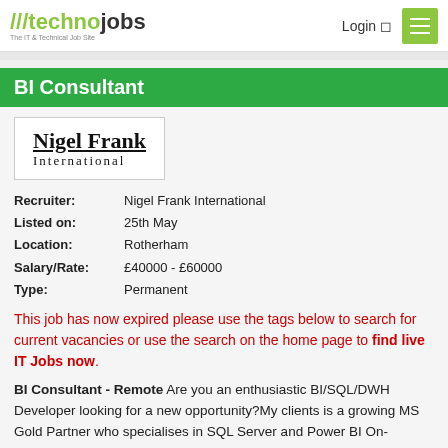///technojobs - The IT & Technical Job Site | Login | Menu
BI Consultant
[Figure (logo): Nigel Frank International logo — bold serif underlined text]
Recruiter: Nigel Frank International
Listed on: 25th May
Location: Rotherham
Salary/Rate: £40000 - £60000
Type: Permanent
This job has now expired please use the tags below to search for current vacancies or use the search on the home page to find live IT Jobs now.
BI Consultant - Remote Are you an enthusiastic BI/SQL/DWH Developer looking for a new opportunity?My clients is a growing MS Gold Partner who specialises in SQL Server and Power BI On-Premise and Azure Business Intelligence and Data solutions. Ideally, it would be great if you